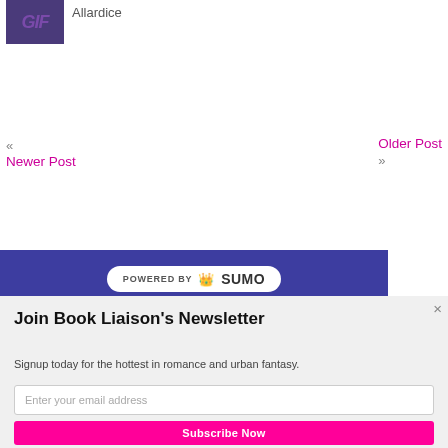[Figure (photo): Book cover thumbnail with purple/dark background and stylized text]
Allardice
« Newer Post
Older Post »
[Figure (logo): POWERED BY SUMO badge on dark blue/indigo banner]
×
Join Book Liaison's Newsletter
Signup today for the hottest in romance and urban fantasy.
Enter your email address
Subscribe Now